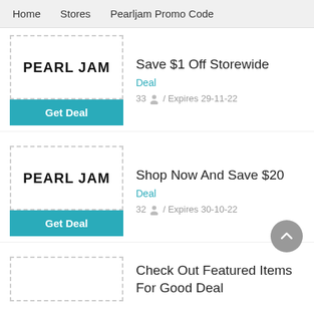Home   Stores   Pearljam Promo Code
[Figure (logo): Pearl Jam logo in bold uppercase black text inside dashed border box]
Get Deal
Save $1 Off Storewide
Deal
33 / Expires 29-11-22
[Figure (logo): Pearl Jam logo in bold uppercase black text inside dashed border box]
Get Deal
Shop Now And Save $20
Deal
32 / Expires 30-10-22
[Figure (logo): Pearl Jam logo in bold uppercase black text inside dashed border box (partial)]
Check Out Featured Items For Good Deal